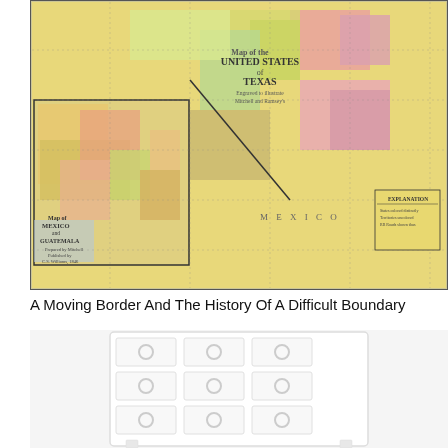[Figure (map): Historical map showing Mexico, Guatemala, United States, and Texas with colored regions for different states and territories. Inset map of Mexico and Guatemala on the left side.]
A Moving Border And The History Of A Difficult Boundary
[Figure (photo): White dresser/chest of drawers with circular ring pulls on each drawer, shown against a white background. Multiple drawers visible including two smaller top drawers and larger drawers below.]